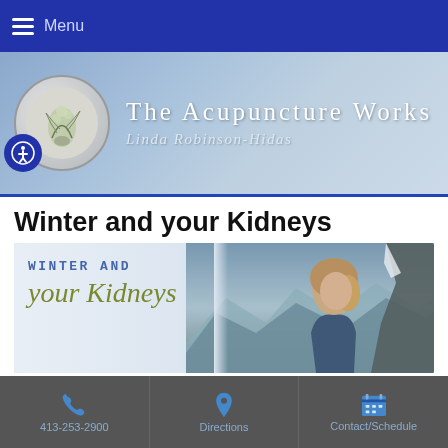Menu
[Figure (illustration): The Acupuncture Works header banner with logo circle showing botanical illustration, accessibility icon, site title 'The Acupuncture Works' and subtitle 'Linda Robinson-Hidas' on blue gradient background]
Winter and your Kidneys
[Figure (photo): Feature image showing 'WINTER AND your Kidneys' text on left side with photo of young woman looking up at mountains on right side]
In Traditional Chinese Medicine, health is achieved by living in balance with nature and the seasons. Winter, the season of the Water Element
413-253-2900  Directions  Contact/Schedule